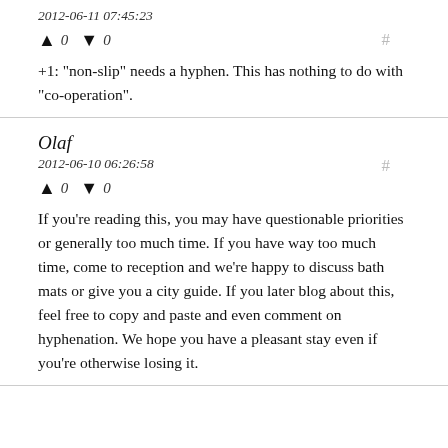2012-06-11 07:45:23
↑ 0 ↓ 0
+1: "non-slip" needs a hyphen. This has nothing to do with "co-operation".
Olaf
2012-06-10 06:26:58
↑ 0 ↓ 0
If you're reading this, you may have questionable priorities or generally too much time. If you have way too much time, come to reception and we're happy to discuss bath mats or give you a city guide. If you later blog about this, feel free to copy and paste and even comment on hyphenation. We hope you have a pleasant stay even if you're otherwise losing it.